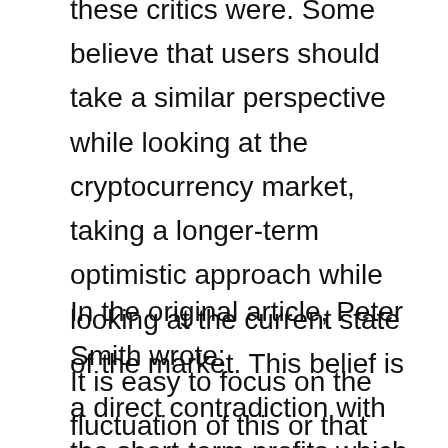these critics were. Some believe that users should take a similar perspective while looking at the cryptocurrency market, taking a longer-term optimistic approach while looking at the current state of the market. This belief is a direct contradiction with the short-term profits which speculators have focused on, nearly deifying 2017's cryptocurrency bull run.
In the original article, Peter Smith wrote:
It is easy to focus on the fluctuation of this or that crypto-asset and to miss the big picture. We are only beginning to grasp the seismic nature of the changes induced by ubiquitous, secure...